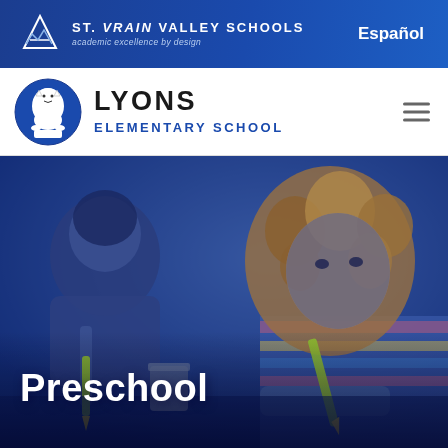ST. VRAIN VALLEY SCHOOLS — academic excellence by design | Español
LYONS ELEMENTARY SCHOOL
[Figure (photo): Hero image of two young children bent over a table drawing or writing with green crayons/pencils, overlaid with a blue color wash. A curly-haired child in a striped sweater is prominent on the right. Text overlay reads 'Preschool'.]
Preschool